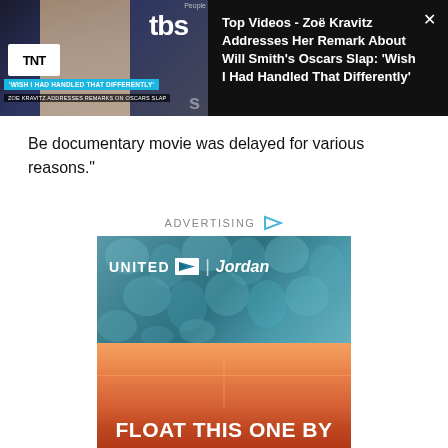[Figure (screenshot): Video player banner showing Zoë Kravitz image with TBS/TNT logos, title overlay reading 'WISH I HAD HANDLED THAT DIFFERENTLY' and 'ZOE KRAVITZ ADDRESSES REMARKS ON OSCARS SLAP']
Top Videos - Zoë Kravitz Addresses Her Remark About Will Smith's Oscars Slap: 'Wish I Had Handled That Differently'
Be documentary movie was delayed for various reasons."
ADVERTISING
[Figure (photo): Advertisement banner for United | Jordan showing teal bubbles/rocks texture on top half with 'UNITED | JORDAN' logo text, and sunset/orange gradient on bottom half with text 'FLOAT THIS ONE BY']